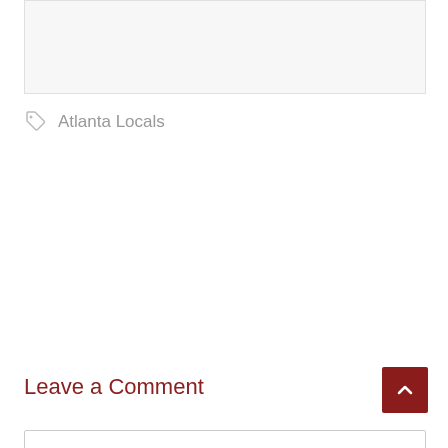[Figure (other): Light gray placeholder image area at the top of the page]
Atlanta Locals
Leave a Comment
[Figure (other): Comment text input box outline]